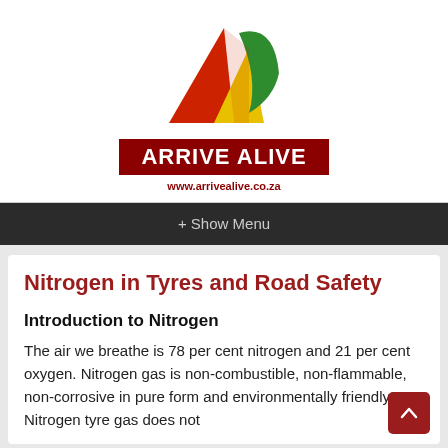[Figure (logo): Arrive Alive logo: triangular shape with red, yellow and green road graphic above a dark red bar with white text 'ARRIVE ALIVE' and URL www.arrivealive.co.za]
+ Show Menu
Nitrogen in Tyres and Road Safety
Introduction to Nitrogen
The air we breathe is 78 per cent nitrogen and 21 per cent oxygen. Nitrogen gas is non-combustible, non-flammable, non-corrosive in pure form and environmentally friendly. Nitrogen tyre gas does not